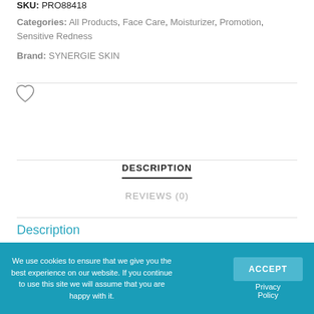SKU: PRO88418
Categories: All Products, Face Care, Moisturizer, Promotion, Sensitive Redness
Brand: SYNERGIE SKIN
DESCRIPTION
REVIEWS (0)
Description
We use cookies to ensure that we give you the best experience on our website. If you continue to use this site we will assume that you are happy with it.
ACCEPT
Privacy Policy